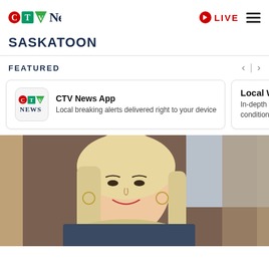CTV News SASKATOON
FEATURED
CTV News App
Local breaking alerts delivered right to your device
Local Weather
In-depth coverage conditions in Sas
[Figure (photo): Portrait photo of a smiling woman with long blonde hair, wearing hoop earrings and a denim jacket, photographed in a vehicle with a blurred outdoor background]